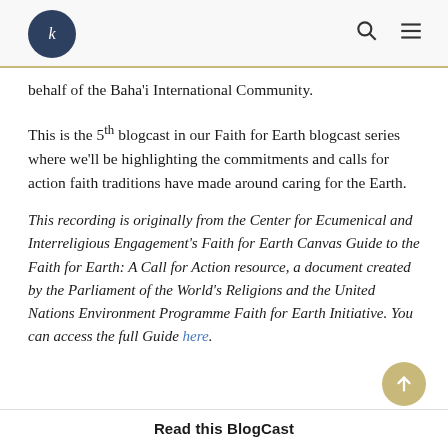[Logo and navigation icons]
behalf of the Baha'i International Community.
This is the 5th blogcast in our Faith for Earth blogcast series where we'll be highlighting the commitments and calls for action faith traditions have made around caring for the Earth.
This recording is originally from the Center for Ecumenical and Interreligious Engagement's Faith for Earth Canvas Guide to the Faith for Earth: A Call for Action resource, a document created by the Parliament of the World's Religions and the United Nations Environment Programme Faith for Earth Initiative. You can access the full Guide here.
Read this BlogCast